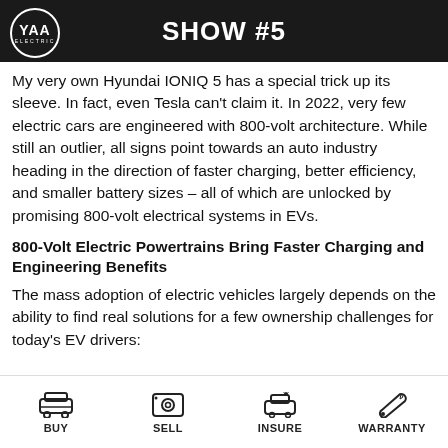[Figure (photo): Dark banner image showing YAA Electric logo on the left and 'SHOW #5' title in white bold text on a dark background with a blurred car/person in background]
My very own Hyundai IONIQ 5 has a special trick up its sleeve. In fact, even Tesla can't claim it. In 2022, very few electric cars are engineered with 800-volt architecture. While still an outlier, all signs point towards an auto industry heading in the direction of faster charging, better efficiency, and smaller battery sizes – all of which are unlocked by promising 800-volt electrical systems in EVs.
800-Volt Electric Powertrains Bring Faster Charging and Engineering Benefits
The mass adoption of electric vehicles largely depends on the ability to find real solutions for a few ownership challenges for today's EV drivers:
BUY   SELL   INSURE   WARRANTY